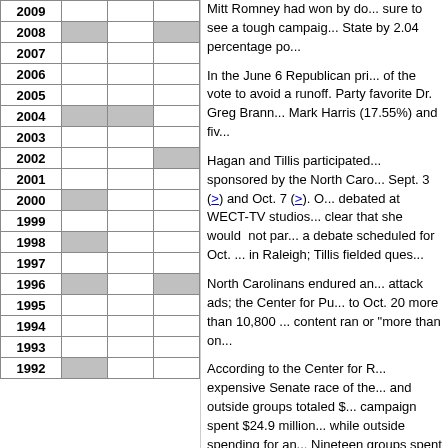| Year | Col1 | Col2 | Col3 |
| --- | --- | --- | --- |
| 2009 |  |  |  |
| 2008 | gray |  | gray |
| 2007 |  |  |  |
| 2006 |  |  |  |
| 2005 |  |  |  |
| 2004 | gray | gray |  |
| 2003 |  |  |  |
| 2002 |  |  | gray |
| 2001 |  |  |  |
| 2000 | gray |  |  |
| 1999 |  |  |  |
| 1998 | gray |  |  |
| 1997 |  |  |  |
| 1996 | gray |  | gray |
| 1995 |  |  |  |
| 1994 |  |  |  |
| 1993 |  |  |  |
| 1992 | gray |  |  |
Mitt Romney had won by do... sure to see a tough campaign... State by 2.04 percentage po...
In the June 6 Republican pri... of the vote to avoid a runoff. Party favorite Dr. Greg Brann... Mark Harris (17.55%) and fiv...
Hagan and Tillis participated... sponsored by the North Caro... Sept. 3 (>) and Oct. 7 (>). O... debated at WECT-TV studios... clear that she would not par... a debate scheduled for Oct. ... in Raleigh; Tillis fielded ques...
North Carolinans endured an... attack ads; the Center for Pu... to Oct. 20 more than 10,800 ... content ran or "more than on...
According to the Center for R... expensive Senate race of the... and outside groups totaled $... campaign spent $24.9 million... while outside spending for an... Nineteen groups spent more... three on the Democratic side... Majority PAC ($13.2 million)